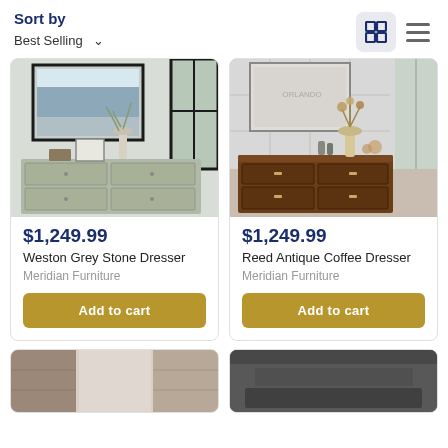Sort by
Best Selling ▾
[Figure (screenshot): Grid view icon button (active/selected) and list view icon]
[Figure (photo): Weston Grey Stone Dresser product photo - grey dresser with decorative items on top]
$1,249.99
Weston Grey Stone Dresser
Meridian Furniture
Add to cart
[Figure (photo): Reed Antique Coffee Dresser product photo - dark brown wooden dresser with decorative items]
$1,249.99
Reed Antique Coffee Dresser
Meridian Furniture
Add to cart
[Figure (photo): Partial product image - light wood dresser, bottom row left card]
[Figure (photo): Partial product image - dark dresser, bottom row right card]